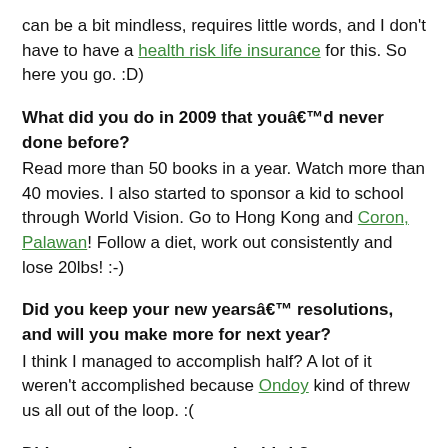can be a bit mindless, requires little words, and I don't have to have a health risk life insurance for this. So here you go. :D)
What did you do in 2009 that youâ€™d never done before?
Read more than 50 books in a year. Watch more than 40 movies. I also started to sponsor a kid to school through World Vision. Go to Hong Kong and Coron, Palawan! Follow a diet, work out consistently and lose 20lbs! :-)
Did you keep your new yearsâ€™ resolutions, and will you make more for next year?
I think I managed to accomplish half? A lot of it weren't accomplished because Ondoy kind of threw us all out of the loop. :(
Did anyone close to you give birth?
No one I know. My teammate isn't due until February.
Did anyone close to you die?